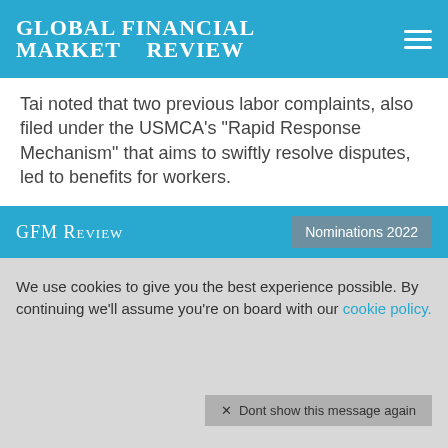Global Financial Market Review
Tai noted that two previous labor complaints, also filed under the USMCA's "Rapid Response Mechanism" that aims to swiftly resolve disputes, led to benefits for workers.
"When concerns arise, we will work swiftly to stand up for workers on both sides of the border," Tai said in a statement.
Mexico's economy and labor ministries did not immediately respond to requests for comment. The
GFM Review | Nominations 2022
We use cookies to give you the best experience possible. By continuing we'll assume you're on board with our cookie policy.